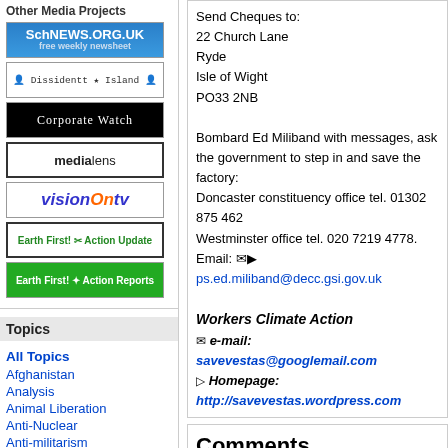Other Media Projects
[Figure (logo): SchNEWS.org.uk free weekly newsheet logo - blue background]
[Figure (logo): Dissident Island logo - monospace text on white]
[Figure (logo): Corporate Watch logo - white text on black]
[Figure (logo): medialens logo - black and white]
[Figure (logo): visionOntv logo - blue and orange italic text]
[Figure (logo): Earth First! Action Update logo - green text on white]
[Figure (logo): Earth First! Action Reports logo - white text on green background]
Topics
All Topics
Afghanistan
Analysis
Animal Liberation
Anti-Nuclear
Anti-militarism
Anti-racism
Send Cheques to:
22 Church Lane
Ryde
Isle of Wight
PO33 2NB

Bombard Ed Miliband with messages, ask the government to step in and save the factory:
Doncaster constituency office tel. 01302 875 462
Westminster office tel. 020 7219 4778.
Email: ps.ed.miliband@decc.gsi.gov.uk
Workers Climate Action
e-mail: savevestas@googlemail.com
Homepage: http://savevestas.wordpress.com
Comments
Display the following comment